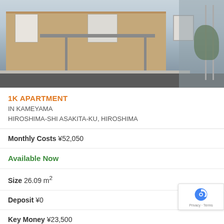[Figure (photo): Exterior photo of a brick apartment building with a pergola/bicycle parking structure in front, sidewalk, and a metal railing fence on the right side.]
1K APARTMENT
IN KAMEYAMA
HIROSHIMA-SHI ASAKITA-KU, HIROSHIMA
Monthly Costs ¥52,050
Available Now
Size 26.09 m²
Deposit ¥0
Key Money ¥23,500